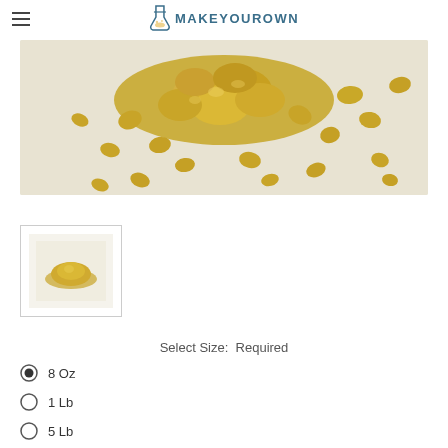MakeYourOwn
[Figure (photo): Yellow wax pellets/beads scattered on a light beige background, photographed from above]
[Figure (photo): Thumbnail image of a small pile of yellow/golden powder or ground wax on a white background]
Select Size:  Required
8 Oz
1 Lb
5 Lb